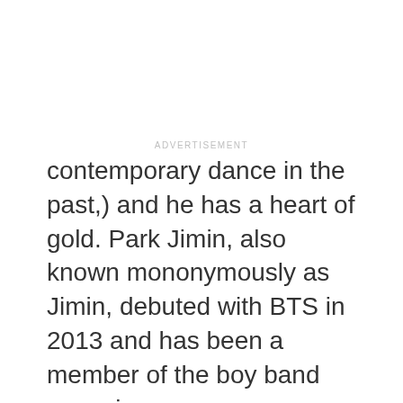ADVERTISEMENT
contemporary dance in the past,) and he has a heart of gold. Park Jimin, also known mononymously as Jimin, debuted with BTS in 2013 and has been a member of the boy band ever since.
ADVERTISEMENT
[Figure (photo): Dark purple gradient background image with a soft radial highlight in the lower left, with 'Morissette' text watermark in the bottom left corner.]